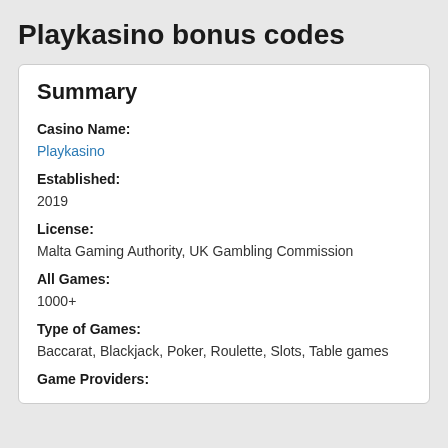Playkasino bonus codes
Summary
Casino Name:
Playkasino
Established:
2019
License:
Malta Gaming Authority, UK Gambling Commission
All Games:
1000+
Type of Games:
Baccarat, Blackjack, Poker, Roulette, Slots, Table games
Game Providers: